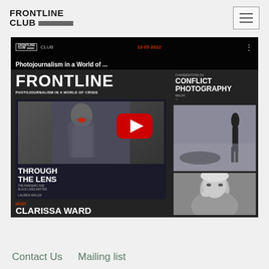[Figure (logo): Frontline Club logo with bold text FRONTLINE CLUB and a dark gray horizontal bar]
[Figure (screenshot): YouTube video thumbnail for 'Photojournalism in a World of Crisis' event from Frontline Club dated 13.05.2022, hosted by Clarissa Ward, with author Lauren Walsh, showing book covers and play button overlay]
Contact Us
Mailing list